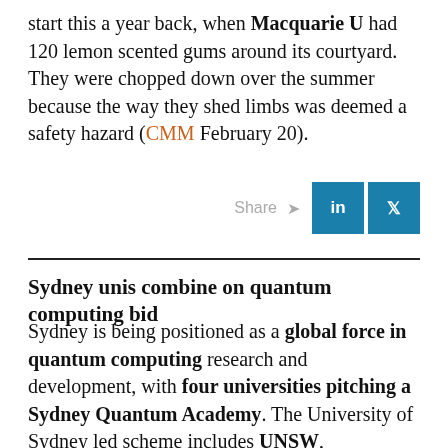start this a year back, when Macquarie U had 120 lemon scented gums around its courtyard. They were chopped down over the summer because the way they shed limbs was deemed a safety hazard (CMM February 20).
[Figure (other): Share buttons row with LinkedIn and Twitter icons]
Sydney unis combine on quantum computing bid
Sydney is being positioned as a global force in quantum computing research and development, with four universities pitching a Sydney Quantum Academy. The University of Sydney led scheme includes UNSW, Macquarie U and UTS and is developing a plan "to help Sydney cement its place as a global centre of excellence for quantum computing … and develop the next generation of quantum engineers," UniSyd DVC R Duncan Ivison says.